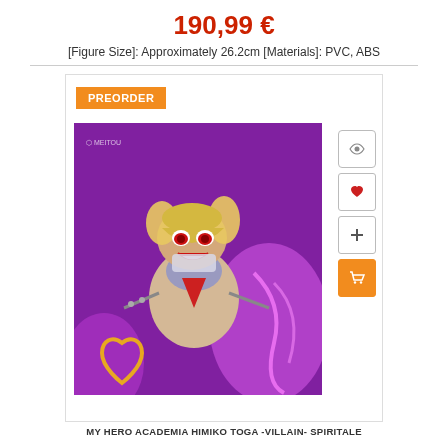190,99 €
[Figure Size]: Approximately 26.2cm [Materials]: PVC, ABS
[Figure (photo): Product card for My Hero Academia Himiko Toga -Villain- Spiritale figure, showing an anime figurine with blonde twin-tail hair against a purple background, holding chains with a heart-shaped weapon. Includes orange PREORDER badge, eye/wishlist/add/cart action buttons on the right side.]
MY HERO ACADEMIA HIMIKO TOGA -VILLAIN- SPIRITALE